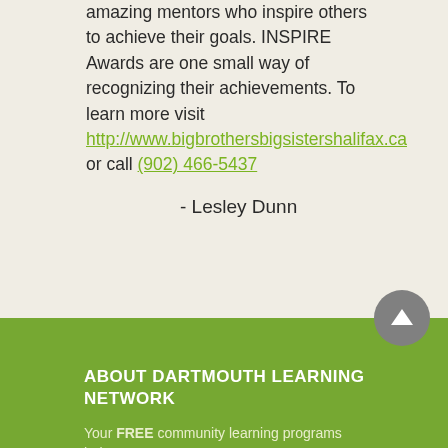amazing mentors who inspire others to achieve their goals. INSPIRE Awards are one small way of recognizing their achievements. To learn more visit http://www.bigbrothersbigsistershalifax.ca or call (902) 466-5437
- Lesley Dunn
ABOUT DARTMOUTH LEARNING NETWORK
Your FREE community learning programs help you